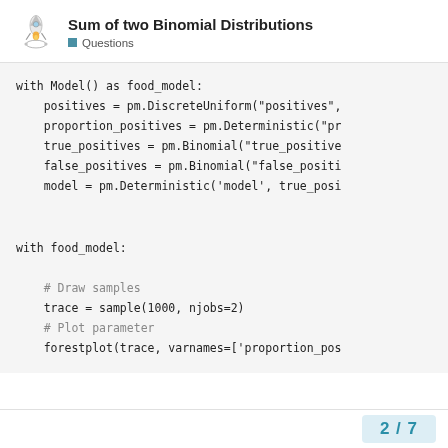Sum of two Binomial Distributions
Questions
with Model() as food_model:
    positives = pm.DiscreteUniform("positives",
    proportion_positives = pm.Deterministic("pr
    true_positives = pm.Binomial("true_positive
    false_positives = pm.Binomial("false_positi
    model = pm.Deterministic('model', true_posi
with food_model:

    # Draw samples
    trace = sample(1000, njobs=2)
    # Plot parameter
    forestplot(trace, varnames=['proportion_pos
2 / 7